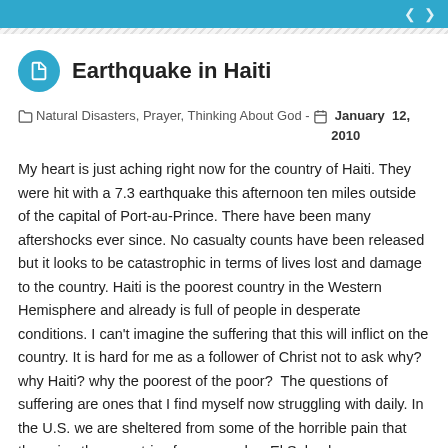Earthquake in Haiti
Natural Disasters, Prayer, Thinking About God - January 12, 2010
My heart is just aching right now for the country of Haiti. They were hit with a 7.3 earthquake this afternoon ten miles outside of the capital of Port-au-Prince. There have been many aftershocks ever since. No casualty counts have been released but it looks to be catastrophic in terms of lives lost and damage to the country. Haiti is the poorest country in the Western Hemisphere and already is full of people in desperate conditions. I can't imagine the suffering that this will inflict on the country. It is hard for me as a follower of Christ not to ask why? why Haiti? why the poorest of the poor? The questions of suffering are ones that I find myself now struggling with daily. In the U.S. we are sheltered from some of the horrible pain that those in other countries face everyday. El Salvador